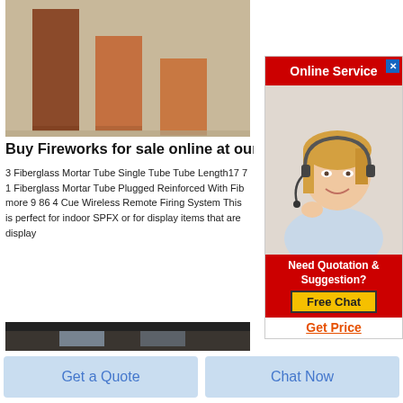[Figure (photo): Three copper/terracotta colored rectangular brick blocks standing upright on a concrete surface]
Buy Fireworks for sale online at our o
3 Fiberglass Mortar Tube Single Tube Tube Length17 7
1 Fiberglass Mortar Tube Plugged Reinforced With Fib
more 9 86 4 Cue Wireless Remote Firing System This
is perfect for indoor SPFX or for display items that are
display
[Figure (screenshot): Online Service advertisement banner with woman wearing headset, red header saying Online Service, and Free Chat button. Includes Need Quotation & Suggestion? text and Get Price link.]
[Figure (photo): Warehouse with many cardboard boxes arranged on the floor]
Get a Quote
Chat Now